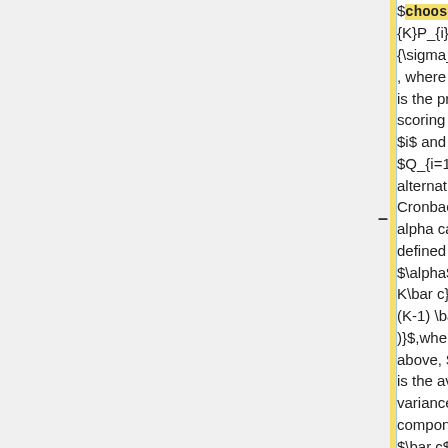$\choose 1-\frac{\sum_{i=1}^{K}P_{i}Q_{i}}{\sigma_{X}^{2}}$, where $P_{i}$ is the proportion scoring 1 on item $i$ and $Q_{i=1}-P_{i}$, alternatively, Cronbach's alpha can be defined as $\alpha$=$\frac{K\bar c}{(\bar v + (K-1) \bar c )}$,where K is as above, $\bar v$ is the average variance of each component and $\bar c$ is the average of all